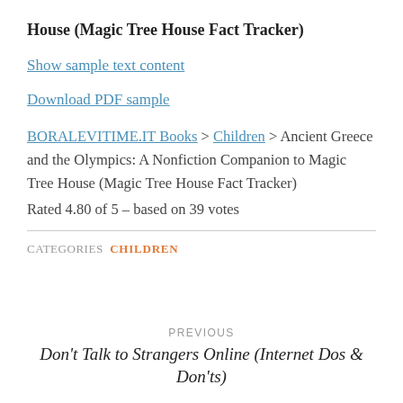House (Magic Tree House Fact Tracker)
Show sample text content
Download PDF sample
BORALEVITIME.IT Books > Children > Ancient Greece and the Olympics: A Nonfiction Companion to Magic Tree House (Magic Tree House Fact Tracker) Rated 4.80 of 5 – based on 39 votes
CATEGORIES CHILDREN
PREVIOUS
Don't Talk to Strangers Online (Internet Dos & Don'ts)